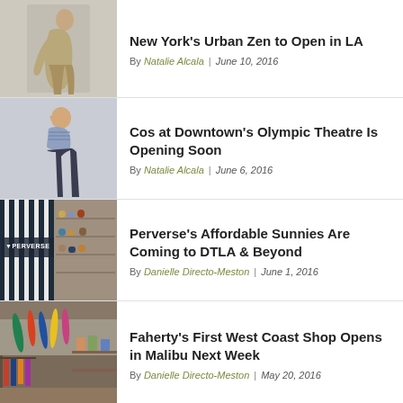[Figure (photo): Woman in tan/khaki draped outfit posing against light background]
New York's Urban Zen to Open in LA
By Natalie Alcala | June 10, 2016
[Figure (photo): Woman in blue crop top and dark trousers posing against light background]
Cos at Downtown's Olympic Theatre Is Opening Soon
By Natalie Alcala | June 6, 2016
[Figure (photo): Perverse sunglasses store exterior with striped facade and interior shelves]
Perverse's Affordable Sunnies Are Coming to DTLA & Beyond
By Danielle Directo-Meston | June 1, 2016
[Figure (photo): Interior of a surf/clothing shop with colorful boards and clothing racks]
Faherty's First West Coast Shop Opens in Malibu Next Week
By Danielle Directo-Meston | May 20, 2016